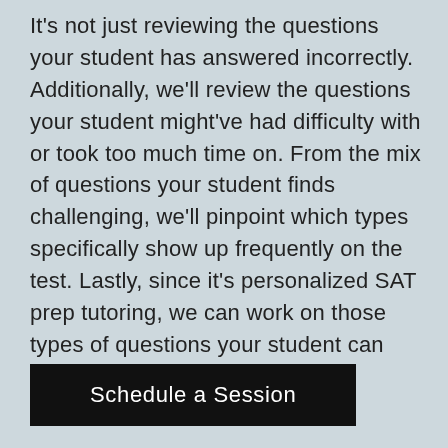It's not just reviewing the questions your student has answered incorrectly. Additionally, we'll review the questions your student might've had difficulty with or took too much time on. From the mix of questions your student finds challenging, we'll pinpoint which types specifically show up frequently on the test. Lastly, since it's personalized SAT prep tutoring, we can work on those types of questions your student can learn to master the fastest.
Schedule a Session